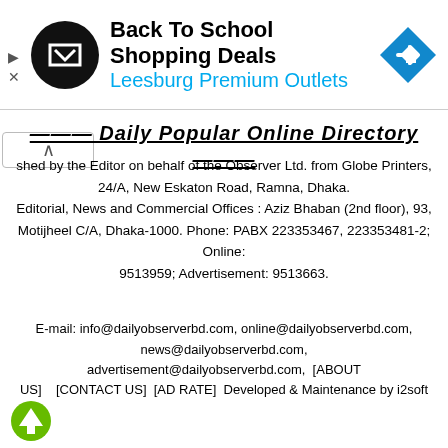[Figure (screenshot): Advertisement banner for Back To School Shopping Deals at Leesburg Premium Outlets with black circle logo and blue diamond arrow icon]
Daily Popular Online Directory
shed by the Editor on behalf of the Observer Ltd. from Globe Printers, 24/A, New Eskaton Road, Ramna, Dhaka. Editorial, News and Commercial Offices : Aziz Bhaban (2nd floor), 93, Motijheel C/A, Dhaka-1000. Phone: PABX 223353467, 223353481-2; Online: 9513959; Advertisement: 9513663.
E-mail: info@dailyobserverbd.com, online@dailyobserverbd.com, news@dailyobserverbd.com, advertisement@dailyobserverbd.com, [ABOUT US] [CONTACT US] [AD RATE] Developed & Maintenance by i2soft